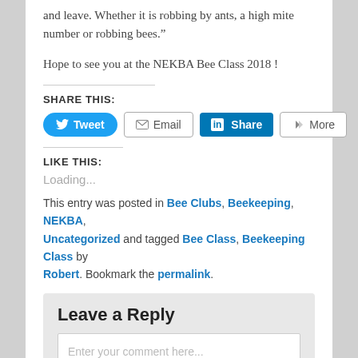and leave. Whether it is robbing by ants, a high mite number or robbing bees.”
Hope to see you at the NEKBA Bee Class 2018 !
SHARE THIS:
[Figure (other): Social sharing buttons: Tweet (Twitter), Email, Share (LinkedIn), More]
LIKE THIS:
Loading...
This entry was posted in Bee Clubs, Beekeeping, NEKBA, Uncategorized and tagged Bee Class, Beekeeping Class by Robert. Bookmark the permalink.
Leave a Reply
Enter your comment here...